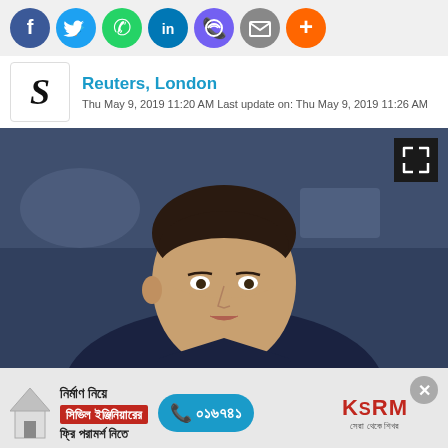[Figure (other): Social media share icons: Facebook (blue), Twitter (light blue), WhatsApp (green), LinkedIn (blue), Viber (purple), Email (gray), More (orange)]
Reuters, London
Thu May 9, 2019 11:20 AM Last update on: Thu May 9, 2019 11:26 AM
[Figure (photo): A man wearing a dark navy blue polo shirt with yellow trim, short dark hair, photographed in an indoor setting. Expand/fullscreen button visible in top right corner.]
[Figure (other): Advertisement banner in Bengali: 'নির্মাণ নিয়ে সিভিল ইঞ্জিনিয়ারের ফ্রি পরামর্শ নিতে' with phone number ০১৬৭৪১ and KSRM logo. Close (X) button in top right.]